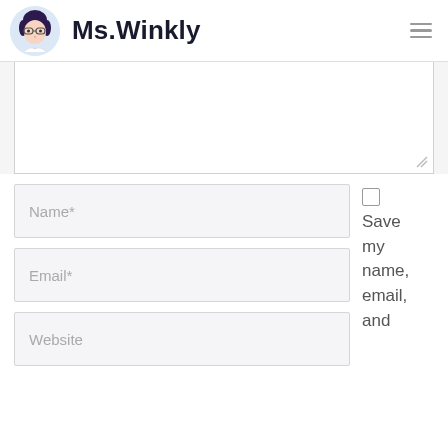Ms.Winkly
[Figure (other): Large textarea input box (comment field), partially visible, with resize handle at bottom right]
Name*
Email*
Website
Save my name, email, and